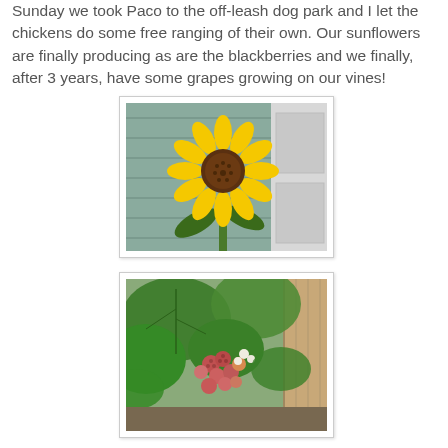Sunday we took Paco to the off-leash dog park and I let the chickens do some free ranging of their own. Our sunflowers are finally producing as are the blackberries and we finally, after 3 years, have some grapes growing on our vines!
[Figure (photo): A bright yellow sunflower in full bloom against a grey-green siding wall and white door background.]
[Figure (photo): Blackberry plant with large green leaves and clusters of ripe and unripe berries, in a garden bed near a wooden fence.]